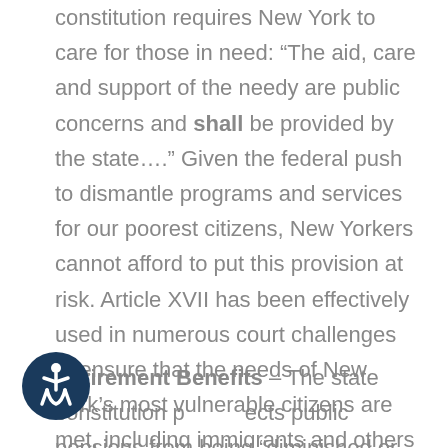constitution requires New York to care for those in need: “The aid, care and support of the needy are public concerns and shall be provided by the state….” Given the federal push to dismantle programs and services for our poorest citizens, New Yorkers cannot afford to put this provision at risk. Article XVII has been effectively used in numerous court challenges to ensure that the needs of New York’s most vulnerable citizens are met, including immigrants and others excluded from the federal safety net.
Retirement Benefits – The state constitution protects public pensions from being “diminished or impaired.” This means that people who have worked